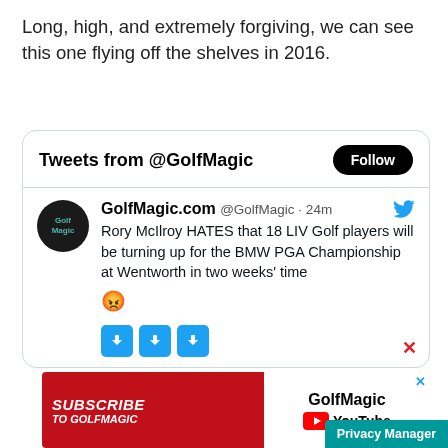Long, high, and extremely forgiving, we can see this one flying off the shelves in 2016.
[Figure (screenshot): Embedded Twitter/X widget showing Tweets from @GolfMagic with a Follow button, and a tweet by GolfMagic.com (@GolfMagic · 24m) reading: Rory McIlroy HATES that 18 LIV Golf players will be turning up for the BMW PGA Championship at Wentworth in two weeks' time [angry emoji]. Three blue arrow-down action buttons shown below.]
[Figure (screenshot): Advertisement banner: left half red background with 'SUBSCRIBE TO GOLFMAGIC' in white bold italic text; right half white with 'GolfMagic' text and YouTube logo button. A Privacy Manager button in teal at bottom right.]